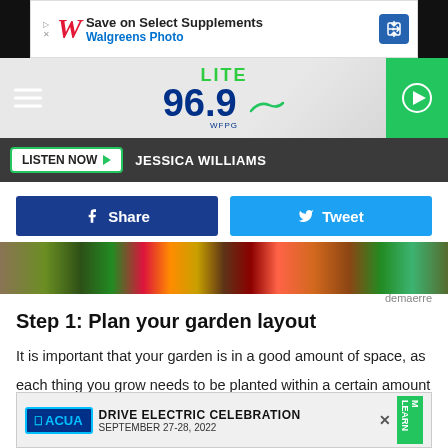[Figure (screenshot): Walgreens advertisement banner: Save on Select Supplements, Walgreens Photo]
[Figure (logo): Lite 96.9 WFPG radio station logo with hamburger menu and play button]
LISTEN NOW   JESSICA WILLIAMS
[Figure (screenshot): Facebook Share button and Twitter Tweet button]
[Figure (photo): Vegetables photo showing assorted garden vegetables]
demaerre
Step 1: Plan your garden layout
It is important that your garden is in a good amount of space, as each thing you grow needs to be planted within a certain amount of area for top results. You also want to consider where the sun hits, as your plants will need the perfect
[Figure (screenshot): ACUA Drive Electric Celebration advertisement banner, September 27-28, 2022]